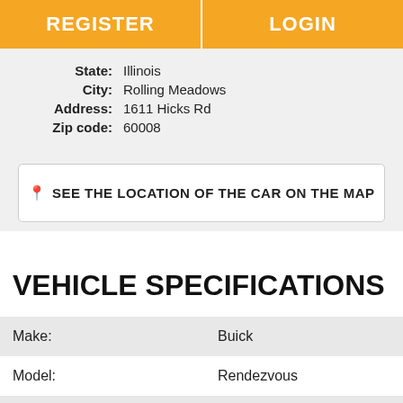REGISTER | LOGIN
State: Illinois
City: Rolling Meadows
Address: 1611 Hicks Rd
Zip code: 60008
SEE THE LOCATION OF THE CAR ON THE MAP
VEHICLE SPECIFICATIONS
|  |  |
| --- | --- |
| Make: | Buick |
| Model: | Rendezvous |
| Body type: | SUV |
| Year: | 2006 |
| Mileage: | 115474 |